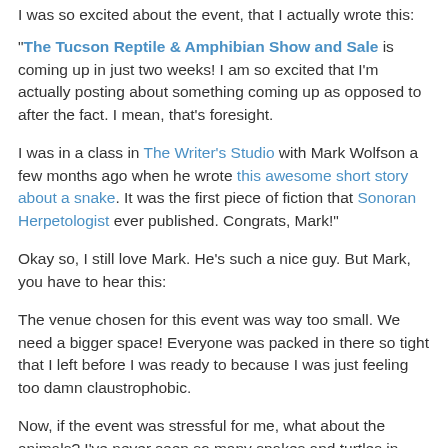I was so excited about the event, that I actually wrote this:
"The Tucson Reptile & Amphibian Show and Sale is coming up in just two weeks! I am so excited that I'm actually posting about something coming up as opposed to after the fact. I mean, that's foresight.
I was in a class in The Writer's Studio with Mark Wolfson a few months ago when he wrote this awesome short story about a snake. It was the first piece of fiction that Sonoran Herpetologist ever published. Congrats, Mark!"
Okay so, I still love Mark. He's such a nice guy. But Mark, you have to hear this:
The venue chosen for this event was way too small. We need a bigger space! Everyone was packed in there so tight that I left before I was ready to because I was just feeling too damn claustrophobic.
Now, if the event was stressful for me, what about the animals? I've never seen so many snakes and turtles in Tucson, and before. And about that, the stressing and...